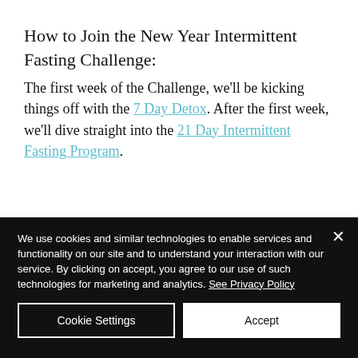How to Join the New Year Intermittent Fasting Challenge:
The first week of the Challenge, we'll be kicking things off with the 7 Day Detox. After the first week, we'll dive straight into the 21 Day Intermittent Fasting Program.
We use cookies and similar technologies to enable services and functionality on our site and to understand your interaction with our service. By clicking on accept, you agree to our use of such technologies for marketing and analytics. See Privacy Policy